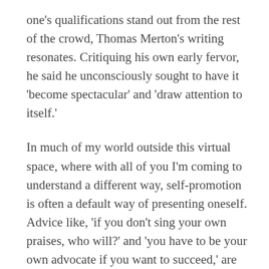one's qualifications stand out from the rest of the crowd, Thomas Merton's writing resonates. Critiquing his own early fervor, he said he unconsciously sought to have it 'become spectacular' and 'draw attention to itself.'
In much of my world outside this virtual space, where with all of you I'm coming to understand a different way, self-promotion is often a default way of presenting oneself. Advice like, 'if you don't sing your own praises, who will?' and 'you have to be your own advocate if you want to succeed,' are standard in many professions.